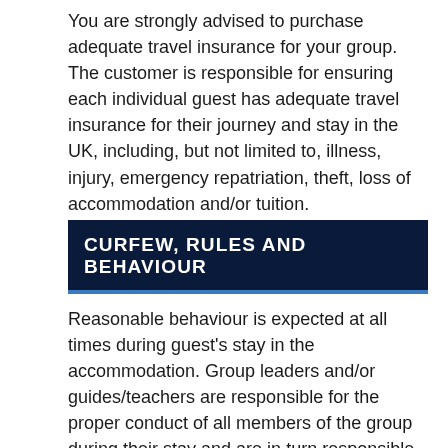You are strongly advised to purchase adequate travel insurance for your group. The customer is responsible for ensuring each individual guest has adequate travel insurance for their journey and stay in the UK, including, but not limited to, illness, injury, emergency repatriation, theft, loss of accommodation and/or tuition.
CURFEW, RULES AND BEHAVIOUR
Reasonable behaviour is expected at all times during guest's stay in the accommodation. Group leaders and/or guides/teachers are responsible for the proper conduct of all members of the group during their stay and are in turn responsible for making full payment for any damage or loss caused by any member of the group during their stay. We reserve the right to remove